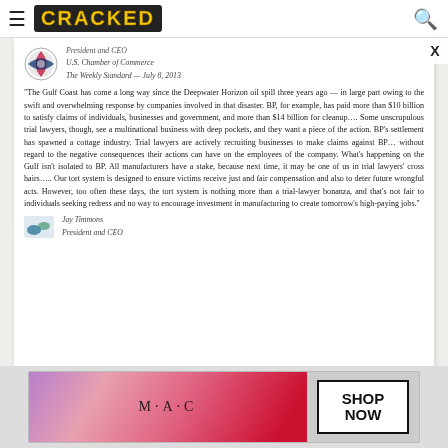CRACKED
[Figure (screenshot): Screenshot of a Cracked.com webpage showing a letter/quote attributed to Jay Timmons, President and CEO of the U.S. Chamber of Commerce, published in The Weekly Standard on July 8, 2013, about Deepwater Horizon and tort law.]
President and CEO
U.S. Chamber of Commerce
The Weekly Standard — July 8, 2013
"The Gulf Coast has come a long way since the Deepwater Horizon oil spill three years ago — in large part owing to the swift and overwhelming response by companies involved in that disaster. BP, for example, has paid more than $10 billion to satisfy claims of individuals, businesses and government, and more than $14 billion for cleanup…. Some unscrupulous trial lawyers, though, see a multinational business with deep pockets, and they want a piece of the action. BP's settlement has spawned a cottage industry. Trial lawyers are actively recruiting businesses to make claims against BP… without regard to the negative consequences their actions can have on the employees of the company. What's happening on the Gulf isn't isolated to BP. All manufacturers have a stake, because next time, it may be one of us in trial lawyers' cross hairs….. Our tort system is designed to ensure victims receive just and fair compensation and also to deter future wrongful acts. However, too often these days, the tort system is nothing more than a trial-lawyer bonanza, and that's not fair to individuals seeking redress and no way to encourage investment in manufacturing to create tomorrow's high-paying jobs."
Jay Timmons
President and CEO